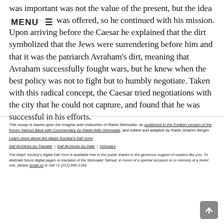was important was not the value of the present, but the idea that a present was offered, so he continued with his mission. Upon arriving before the Caesar he explained that the dirt symbolized that the Jews were surrendering before him and that it was the patriarch Avraham's dirt, meaning that Avraham successfully fought wars, but he knew when the best policy was not to fight but to humbly negotiate. Taken with this radical concept, the Caesar tried negotiations with the city that he could not capture, and found that he was successful in his efforts.
This essay is based upon the insights and chidushim of Rabbi Steinsaltz, as published in the English version of the Koren Talmud Bavli with Commentary by Rabbi Adin Steinsaltz, and edited and adapted by Rabbi Shalom Berger.
Learn more about the Aleph Society's Daf Yomi
Daf Archives by Tractate | Daf Archives by Date | Glossary
The Aleph Society's digital Daf Yomi is available free to the public thanks to the generous support of readers like you. To dedicate future digital pages or tractates of the Steinsaltz Talmud, in honor of a special occasion or in memory of a loved one, please email us or call +1 (212) 840-1166.